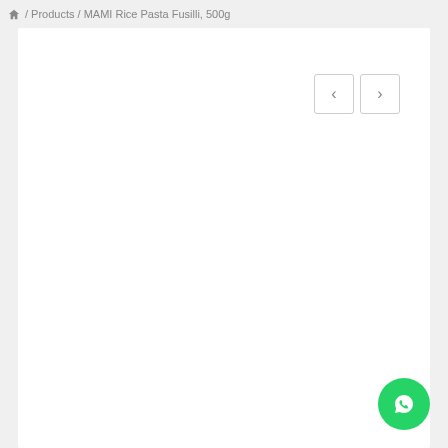🏠 / Products / MAMI Rice Pasta Fusilli, 500g
[Figure (screenshot): White product image display area with navigation previous/next buttons in top right corner]
[Figure (logo): WhatsApp floating action button (green circle with phone/chat icon) in bottom right corner]